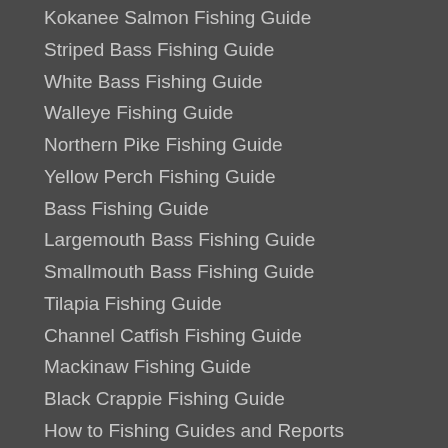Kokanee Salmon Fishing Guide
Striped Bass Fishing Guide
White Bass Fishing Guide
Walleye Fishing Guide
Northern Pike Fishing Guide
Yellow Perch Fishing Guide
Bass Fishing Guide
Largemouth Bass Fishing Guide
Smallmouth Bass Fishing Guide
Tilapia Fishing Guide
Channel Catfish Fishing Guide
Mackinaw Fishing Guide
Black Crappie Fishing Guide
How to Fishing Guides and Reports
White Crappie Fishing Guide
Lake Trout Fishing Guide
Boone Lake Fishing Guide
Jackson Lake Fishing Guide
Jackson Lake Fishing Guide